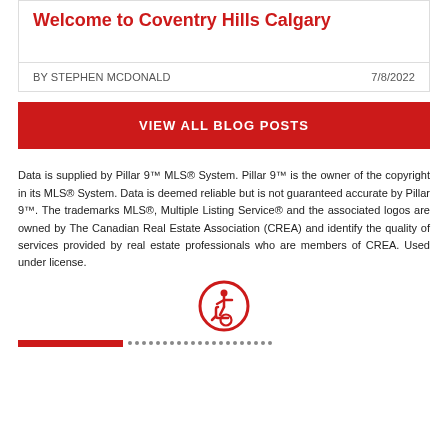Welcome to Coventry Hills Calgary
BY STEPHEN MCDONALD    7/8/2022
VIEW ALL BLOG POSTS
Data is supplied by Pillar 9™ MLS® System. Pillar 9™ is the owner of the copyright in its MLS® System. Data is deemed reliable but is not guaranteed accurate by Pillar 9™. The trademarks MLS®, Multiple Listing Service® and the associated logos are owned by The Canadian Real Estate Association (CREA) and identify the quality of services provided by real estate professionals who are members of CREA. Used under license.
[Figure (logo): Accessibility icon — person in wheelchair inside a red circle]
Red bar and dotted footer bar